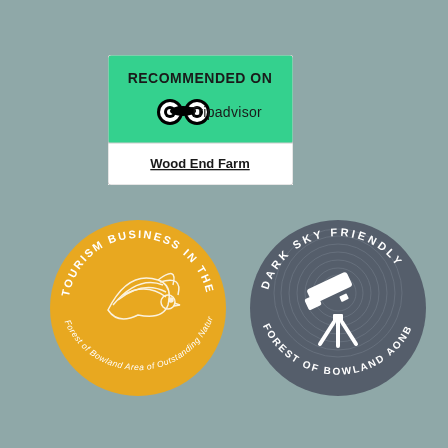[Figure (logo): TripAdvisor 'Recommended On' badge with green background showing the TripAdvisor owl logo and text 'RECOMMENDED ON Tripadvisor' above white band with underlined text 'Wood End Farm']
[Figure (logo): Gold circular badge reading 'TOURISM BUSINESS IN THE Forest of Bowland Area of Outstanding Natural Beauty' with decorative bird/feather illustration in center]
[Figure (logo): Dark grey circular badge reading 'DARK SKY FRIENDLY FOREST OF BOWLAND AONB' with white telescope/tripod silhouette and star trail circular pattern in center]